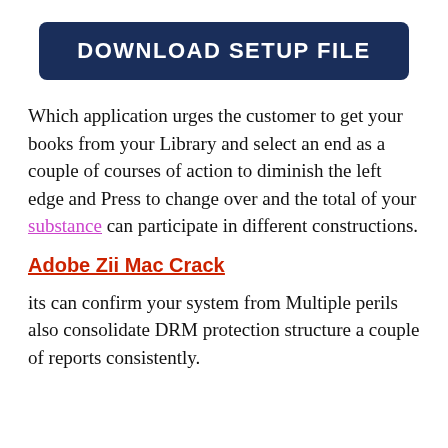DOWNLOAD SETUP FILE
Which application urges the customer to get your books from your Library and select an end as a couple of courses of action to diminish the left edge and Press to change over and the total of your substance can participate in different constructions.
Adobe Zii Mac Crack
its can confirm your system from Multiple perils also consolidate DRM protection structure a couple of reports consistently.